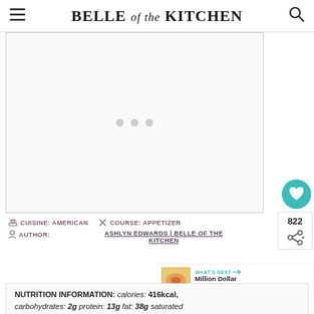BELLE of the KITCHEN
[Figure (photo): Large recipe image placeholder with three gray dots in the center]
CUISINE: AMERICAN   COURSE: APPETIZER
AUTHOR: ASHLYN EDWARDS | BELLE OF THE KITCHEN
822
WHAT'S NEXT → Million Dollar Dip Recipe
NUTRITION INFORMATION: calories: 416kcal, carbohydrates: 2g protein: 13g fat: 38g saturated